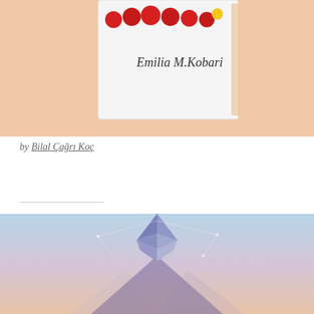[Figure (illustration): Book cover showing 'Emilia M. Kobari' author name on a peach/salmon background with decorative red circular elements at the top]
by Bilal Çağrı Koç
[Figure (illustration): Ethereum cryptocurrency logo (diamond/crystal shape in blue-purple tones) floating above a stylized Mount Fuji, on a light blue to peach gradient background with geometric network lines]